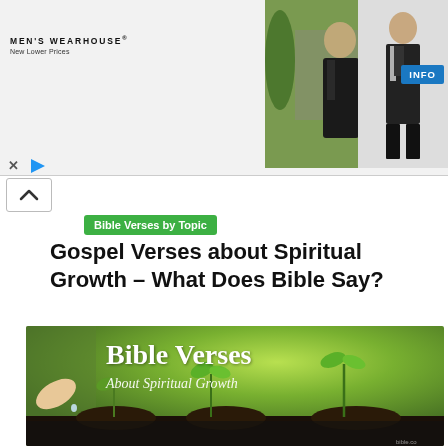[Figure (photo): Men's Wearhouse advertisement banner showing a man and woman in formal wear at a wedding, a solo man in a suit, and an INFO button. Logo reads 'MEN'S WEARHOUSE® New Lower Prices'.]
Bible Verses by Topic
Gospel Verses about Spiritual Growth – What Does Bible Say?
[Figure (photo): Hero image showing seedlings sprouting from soil in seed trays, with a hand dripping water. Overlaid text reads 'Bible Verses About Spiritual Growth'.]